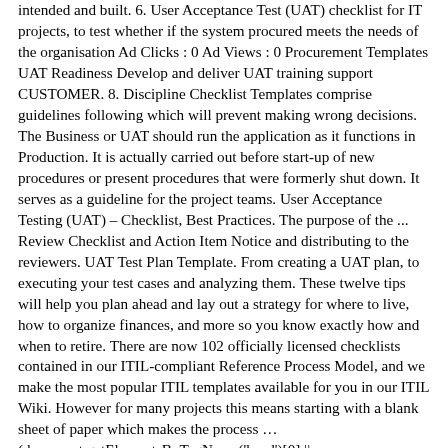intended and built. 6. User Acceptance Test (UAT) checklist for IT projects, to test whether if the system procured meets the needs of the organisation Ad Clicks : 0 Ad Views : 0 Procurement Templates UAT Readiness Develop and deliver UAT training support CUSTOMER. 8. Discipline Checklist Templates comprise guidelines following which will prevent making wrong decisions. The Business or UAT should run the application as it functions in Production. It is actually carried out before start-up of new procedures or present procedures that were formerly shut down. It serves as a guideline for the project teams. User Acceptance Testing (UAT) – Checklist, Best Practices. The purpose of the ... Review Checklist and Action Item Notice and distributing to the reviewers. UAT Test Plan Template. From creating a UAT plan, to executing your test cases and analyzing them. These twelve tips will help you plan ahead and lay out a strategy for where to live, how to organize finances, and more so you know exactly how and when to retire. There are now 102 officially licensed checklists contained in our ITIL-compliant Reference Process Model, and we make the most popular ITIL templates available for you in our ITIL Wiki. However for many projects this means starting with a blank sheet of paper which makes the process … (document.getElementsByTagName('head')[0] || document.getElementsByTagName('body')[0]).appendChild(hs); Submit, N… We're all steps of the test run documented? According to The International Institute of Business Analysis – Body of Knowledge V2.0: User Acceptance Tests: UAT is defined...